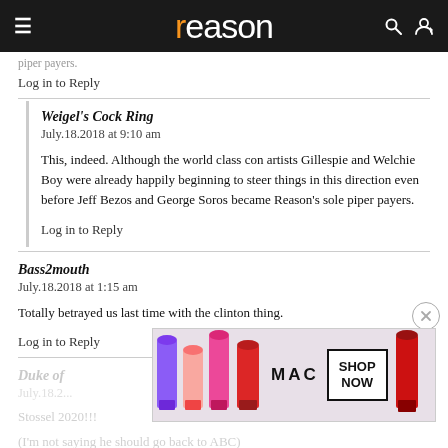reason
Log in to Reply
Weigel's Cock Ring
July.18.2018 at 9:10 am

This, indeed. Although the world class con artists Gillespie and Welchie Boy were already happily beginning to steer things in this direction even before Jeff Bezos and George Soros became Reason's sole piper payers.
Log in to Reply
Bass2mouth
July.18.2018 at 1:15 am

Totally betrayed us last time with the clinton thing.
Log in to Reply
Duke of
July.18.2...

Stossel 2020!!!
(I'm not saying he should go back to ABC)
[Figure (photo): MAC cosmetics advertisement showing lipsticks in purple, peach, and pink colors with MAC logo and SHOP NOW button]